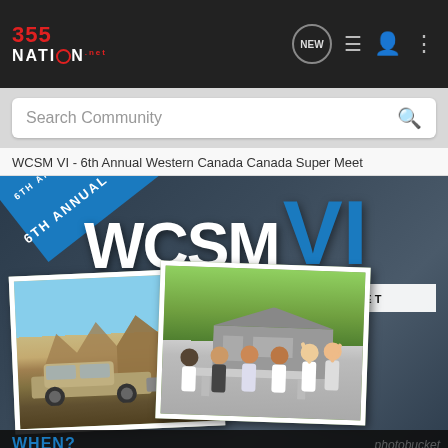[Figure (screenshot): 355 Nation website navigation bar with logo, search bar, and icons]
WCSM VI - 6th Annual Western Canada Canada Super Meet
[Figure (photo): WCSM VI - 6th Annual Western Canada Super Meet event poster featuring truck and group photos with blue and white text]